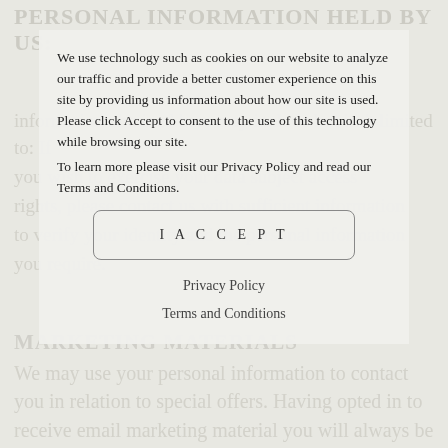PERSONAL INFORMATION HELD BY US:
We use technology such as cookies on our website to analyze our traffic and provide a better customer experience on this site by providing us information about how our site is used. Please click Accept to consent to the use of this technology while browsing our site.
To learn more please visit our Privacy Policy and read our Terms and Conditions.
I ACCEPT
Privacy Policy
Terms and Conditions
MARKETING MATERIALS
We may use your personal information to contact you in relation to special offers. Having opted in to receive email marketing material you will always be provided with an opportunity to opt out on each such communication.